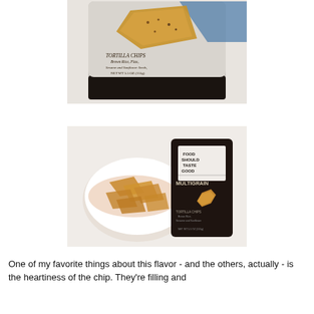[Figure (photo): A bag of tortilla chips labeled 'TORTILLA CHIPS Made with Brown Rice, Flax, Sesame and Sunflower Seeds' NET WT 5.5 OZ (155g), showing a large chip on the front of a silver and black bag.]
[Figure (photo): A white bowl filled with multigrain tortilla chips next to a dark bag labeled 'FOOD SHOULD TASTE GOOD MULTIGRAIN TORTILLA CHIPS' with a chip shown on the front.]
One of my favorite things about this flavor - and the others, actually - is the heartiness of the chip. They're filling and